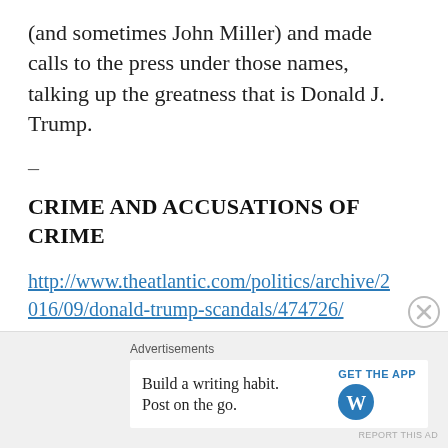(and sometimes John Miller) and made calls to the press under those names, talking up the greatness that is Donald J. Trump.
-
CRIME AND ACCUSATIONS OF CRIME
http://www.theatlantic.com/politics/archive/2016/09/donald-trump-scandals/474726/
http://www.vox.com/policy-and-politics/2016/9/28/12904136/donald-trump-corrupt
* The Trump Foundation is essentially just a scam
Advertisements
Build a writing habit.
Post on the go.
GET THE APP